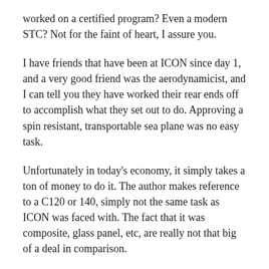worked on a certified program? Even a modern STC? Not for the faint of heart, I assure you.
I have friends that have been at ICON since day 1, and a very good friend was the aerodynamicist, and I can tell you they have worked their rear ends off to accomplish what they set out to do. Approving a spin resistant, transportable sea plane was no easy task.
Unfortunately in today's economy, it simply takes a ton of money to do it. The author makes reference to a C120 or 140, simply not the same task as ICON was faced with. The fact that it was composite, glass panel, etc, are really not that big of a deal in comparison.
Can I stand back and say that I could armchair quarterback that program any better? No, I don't think I can, but then again, I wouldn't be...